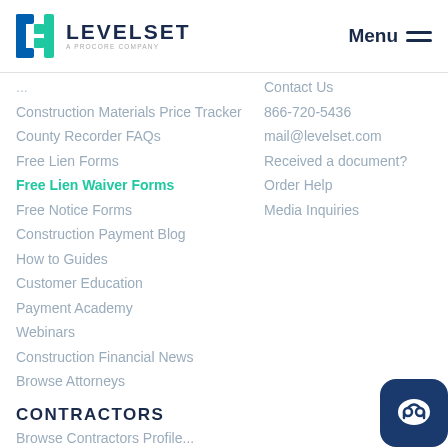[Figure (logo): Levelset logo - a Procore company, with blue bracket icon]
Construction Materials Price Tracker
County Recorder FAQs
Free Lien Forms
Free Lien Waiver Forms
Free Notice Forms
Construction Payment Blog
How to Guides
Customer Education
Payment Academy
Webinars
Construction Financial News
Browse Attorneys
CONTRACTORS
Browse Contractors Profiles
Contact Us
866-720-5436
mail@levelset.com
Received a document?
Order Help
Media Inquiries